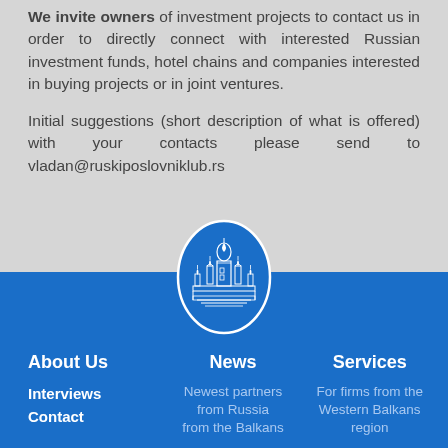We invite owners of investment projects to contact us in order to directly connect with interested Russian investment funds, hotel chains and companies interested in buying projects or in joint ventures.
Initial suggestions (short description of what is offered) with your contacts please send to vladan@ruskiposlovniklub.rs
[Figure (logo): Oval logo with blue background featuring a white illustration of Saint Basil's Cathedral (Moscow), representing a Russian business club]
About Us | News | Services | Interviews | Newest partners from Russia | For firms from the Western Balkans region | Contact | from the Balkans